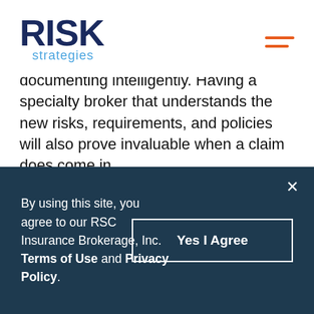[Figure (logo): Risk Strategies logo — dark navy bold 'RISK' with blue 'strategies' text below]
documenting intelligently. Having a specialty broker that understands the new risks, requirements, and policies will also prove invaluable when a claim does come in.
Want to learn more?
Find me on LinkedIn, here.
Connect with the Risk Strategies Executive Liability team at MLPG@risk-strategies.com.
By using this site, you agree to our RSC Insurance Brokerage, Inc. Terms of Use and Privacy Policy.